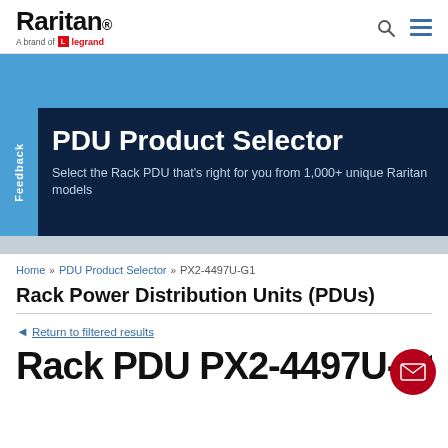Raritan. A brand of legrand
[Figure (screenshot): Blue banner background area]
PDU Product Selector
Select the Rack PDU that's right for you from 1,000+ unique Raritan models
Feedback
Home » PDU Product Selector » PX2-4497U-G1
Rack Power Distribution Units (PDUs)
◄ Return to filtered results
Rack PDU PX2-4497U-G1